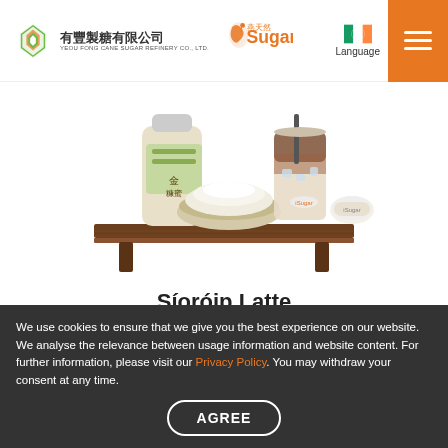[Figure (logo): Yeou Fong Cane Sugar Refinery Co., Ltd. logo with Chinese characters 有豐製糖有限公司 and the iSugar brand logo]
[Figure (photo): Product image showing a bottle of sugar syrup, a bowl of refined white sugar, an iced coffee drink, and a sugar packet on a wooden tray]
Síoróip Latte
Refined White Sugar Latte
An blas meánach ón teaglaim de bhainne úr agus caife,má chuirtear síoróip siúcra bán scagtha iomchuí leis is féidir a
We use cookies to ensure that we give you the best experience on our website. We analyse the relevance between usage information and website content. For further information, please visit our Privacy Policy. You may withdraw your consent at any time.
bán scagtha nádutha ag ... iomshliopa le go mbíne lairnntú óros ráhfhtia áig ... móilíns, s.ámú is go h...